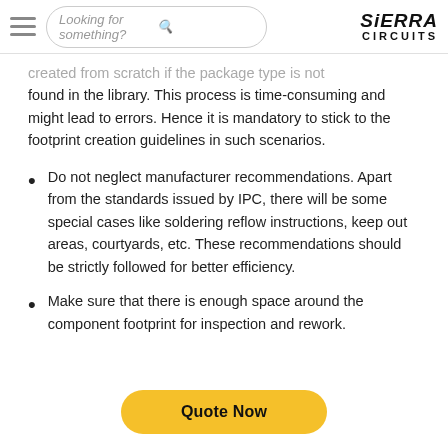Sierra Circuits — Looking for something? [search]
created from scratch if the package type is not found in the library. This process is time-consuming and might lead to errors. Hence it is mandatory to stick to the footprint creation guidelines in such scenarios.
Do not neglect manufacturer recommendations. Apart from the standards issued by IPC, there will be some special cases like soldering reflow instructions, keep out areas, courtyards, etc. These recommendations should be strictly followed for better efficiency.
Make sure that there is enough space around the component footprint for inspection and rework.
Quote Now